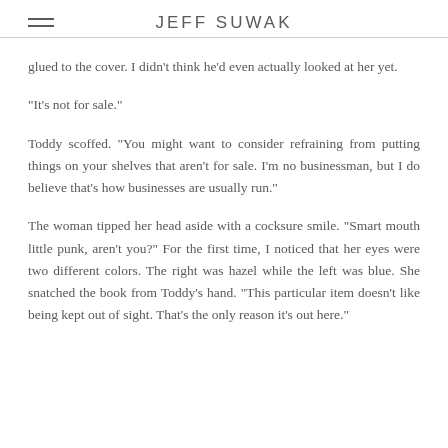JEFF SUWAK
glued to the cover. I didn't think he'd even actually looked at her yet.
"It's not for sale."
Toddy scoffed. "You might want to consider refraining from putting things on your shelves that aren't for sale. I'm no businessman, but I do believe that's how businesses are usually run."
The woman tipped her head aside with a cocksure smile. "Smart mouth little punk, aren't you?" For the first time, I noticed that her eyes were two different colors. The right was hazel while the left was blue. She snatched the book from Toddy's hand. "This particular item doesn't like being kept out of sight. That's the only reason it's out here."